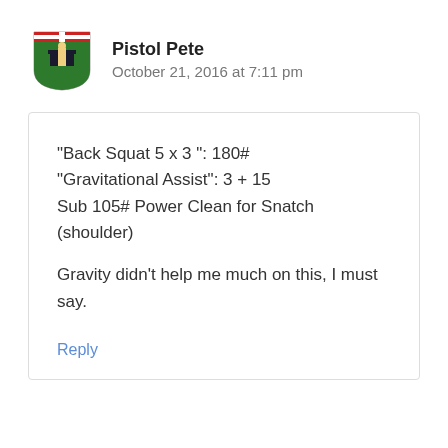[Figure (logo): Shield/crest avatar logo for user Pistol Pete]
Pistol Pete
October 21, 2016 at 7:11 pm
“Back Squat 5 x 3 ”: 180#
“Gravitational Assist”: 3 + 15
Sub 105# Power Clean for Snatch (shoulder)

Gravity didn’t help me much on this, I must say.
Reply